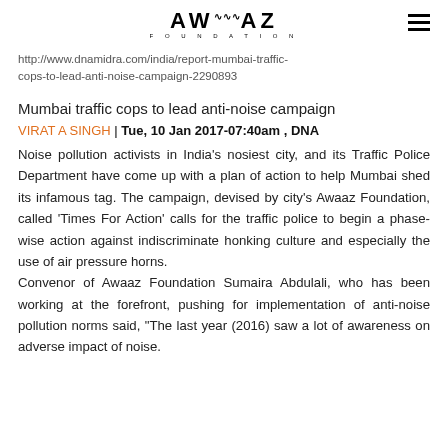AWAAZ FOUNDATION
http://www.dnamidra.com/india/report-mumbai-traffic-cops-to-lead-anti-noise-campaign-2290893
Mumbai traffic cops to lead anti-noise campaign
VIRAT A SINGH | Tue, 10 Jan 2017-07:40am , DNA
Noise pollution activists in India's nosiest city, and its Traffic Police Department have come up with a plan of action to help Mumbai shed its infamous tag. The campaign, devised by city's Awaaz Foundation, called 'Times For Action' calls for the traffic police to begin a phase-wise action against indiscriminate honking culture and especially the use of air pressure horns.
Convenor of Awaaz Foundation Sumaira Abdulali, who has been working at the forefront, pushing for implementation of anti-noise pollution norms said, "The last year (2016) saw a lot of awareness on adverse impact of noise.